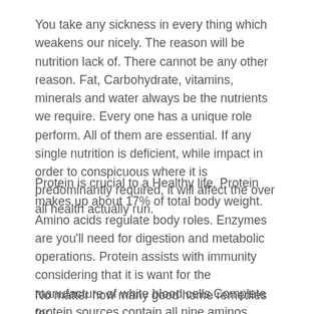You take any sickness in every thing which weakens our nicely. The reason will be nutrition lack of. There cannot be any other reason. Fat, Carbohydrate, vitamins, minerals and water always be the nutrients we require. Every one has a unique role perform. All of them are essential. If any single nutrition is deficient, while impact in order to conspicuous where it is predominantly required, it will affect the over all health actually run.
Protein is crucial to a Healthy life. Protein makes up about 17% of total body weight. Amino acids regulate body roles. Enzymes are you'll need for digestion and metabolic operations. Protein assists with immunity considering that it is want for the manufacture of white blood cells.Complete protein sources contain all nine aminos. These proteins are published on animal foods such as meat, fish, poultry, eggs, milk, and soybeans.
No matter how many good home remedies for